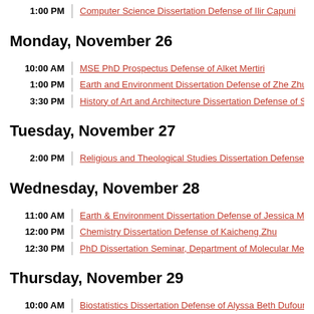1:00 PM | Computer Science Dissertation Defense of Ilir Capuni
Monday, November 26
10:00 AM | MSE PhD Prospectus Defense of Alket Mertiri
1:00 PM | Earth and Environment Dissertation Defense of Zhe Zhu
3:30 PM | History of Art and Architecture Dissertation Defense of Sus…
Tuesday, November 27
2:00 PM | Religious and Theological Studies Dissertation Defense of…
Wednesday, November 28
11:00 AM | Earth & Environment Dissertation Defense of Jessica M. S…
12:00 PM | Chemistry Dissertation Defense of Kaicheng Zhu
12:30 PM | PhD Dissertation Seminar, Department of Molecular Medic…
Thursday, November 29
10:00 AM | Biostatistics Dissertation Defense of Alyssa Beth Dufour
Friday, November 30